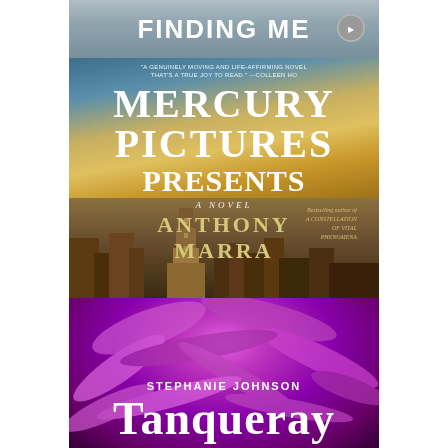[Figure (photo): Partial top of book cover 'Finding Me' with grey/blue background and white bold text, partially cropped]
[Figure (photo): Book cover of 'Mercury Pictures Presents' by Anthony Marra. Sky with golden clouds, cityscape with tower in background. White serif title text, golden author name. Blurb at top. Subtitle 'A Novel'. Note 'Bestselling author of A Constellation of Vital Phenomena' on right side.]
[Figure (photo): Book cover of 'Tanqueray' by Stephanie Johnson. Deep purple feathers background. White author name 'STEPHANIE JOHNSON' in small caps, large white serif title 'Tanqueray'.]